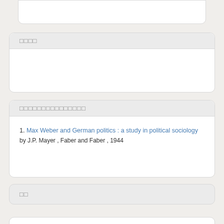(partial card - cut off at top)
□□□□
□□□□□□□□□□□□□□□
1. Max Weber and German politics : a study in political sociology
by J.P. Mayer , Faber and Faber , 1944
□□
□□□□:
3 4 5 6 7 8 11